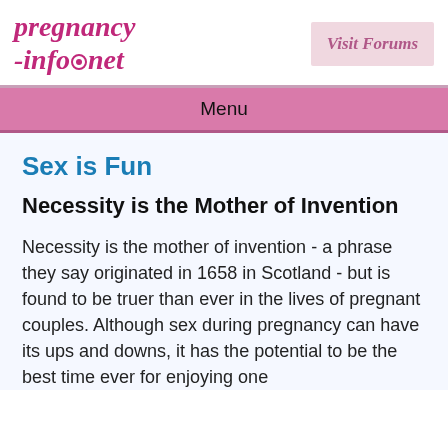pregnancy-info.net
Visit Forums
Menu
Sex is Fun
Necessity is the Mother of Invention
Necessity is the mother of invention - a phrase they say originated in 1658 in Scotland - but is found to be truer than ever in the lives of pregnant couples. Although sex during pregnancy can have its ups and downs, it has the potential to be the best time ever for enjoying one